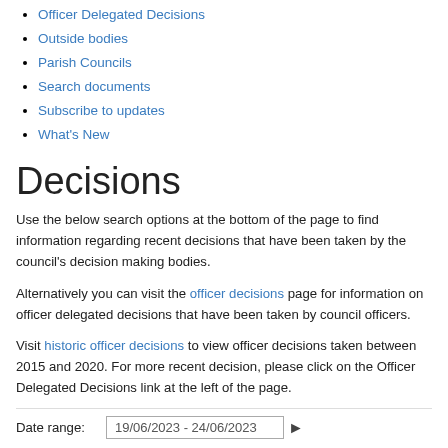Officer Delegated Decisions
Outside bodies
Parish Councils
Search documents
Subscribe to updates
What's New
Decisions
Use the below search options at the bottom of the page to find information regarding recent decisions that have been taken by the council's decision making bodies.
Alternatively you can visit the officer decisions page for information on officer delegated decisions that have been taken by council officers.
Visit historic officer decisions to view officer decisions taken between 2015 and 2020. For more recent decision, please click on the Officer Delegated Decisions link at the left of the page.
Date range: 19/06/2023 - 24/06/2023